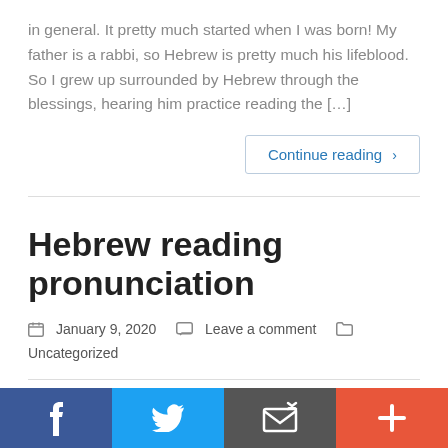in general. It pretty much started when I was born! My father is a rabbi, so Hebrew is pretty much his lifeblood. So I grew up surrounded by Hebrew through the blessings, hearing him practice reading the […]
Continue reading ›
Hebrew reading pronunciation
January 9, 2020   Leave a comment   Uncategorized
[Figure (infographic): Social sharing bar with four buttons: Facebook (dark blue, f icon), Twitter (light blue, bird icon), Email/share (dark gray, envelope icon), Plus/more (orange-red, + icon)]